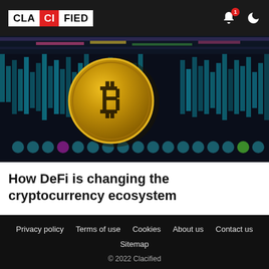CLA CI FIED
[Figure (photo): Bitcoin gold coin in front of blurred colorful cryptocurrency trading chart background with blue and teal bar graphs]
How DeFi is changing the cryptocurrency ecosystem
Privacy policy | Terms of use | Cookies | About us | Contact us | Sitemap | © 2022 Clacified